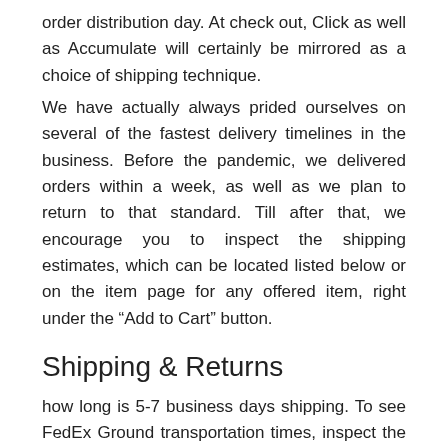order distribution day. At check out, Click as well as Accumulate will certainly be mirrored as a choice of shipping technique.
We have actually always prided ourselves on several of the fastest delivery timelines in the business. Before the pandemic, we delivered orders within a week, as well as we plan to return to that standard. Till after that, we encourage you to inspect the shipping estimates, which can be located listed below or on the item page for any offered item, right under the “Add to Cart” button.
Shipping & Returns
how long is 5-7 business days shipping. To see FedEx Ground transportation times, inspect the FedEx Ground map. Our home window for allowing